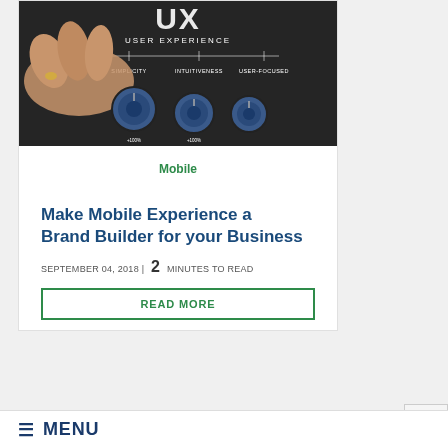[Figure (photo): A hand adjusting knobs on a dark panel labeled 'UX USER EXPERIENCE' with dials for SIMPLICITY, INTUITIVENESS, USER-FOCUSED]
Mobile
Make Mobile Experience a Brand Builder for your Business
SEPTEMBER 04, 2018 |  2  MINUTES TO READ
READ MORE
≡ MENU